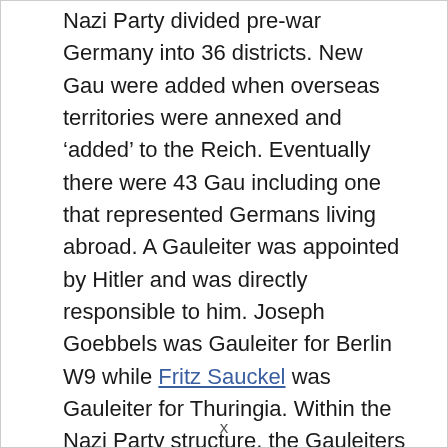Nazi Party divided pre-war Germany into 36 districts. New Gau were added when overseas territories were annexed and 'added' to the Reich. Eventually there were 43 Gau including one that represented Germans living abroad. A Gauleiter was appointed by Hitler and was directly responsible to him. Joseph Goebbels was Gauleiter for Berlin W9 while Fritz Sauckel was Gauleiter for Thuringia. Within the Nazi Party structure, the Gauleiters were very powerful men. A Gauleiter was probably the most important man within a district and ruled their Gau as their own. Whereas the Reich Leaders had very broad portfolios to take care of, the Gauleiters were given power over a very
x